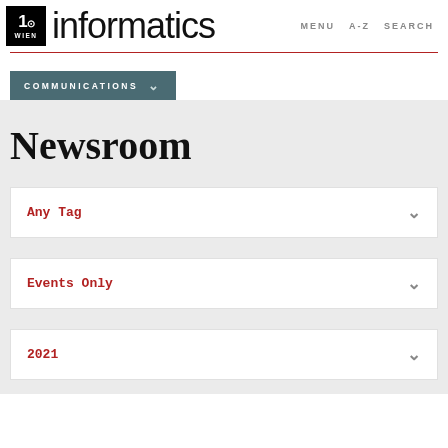TU Wien Informatics | MENU  A-Z  SEARCH
COMMUNICATIONS
Newsroom
Any Tag
Events Only
2021